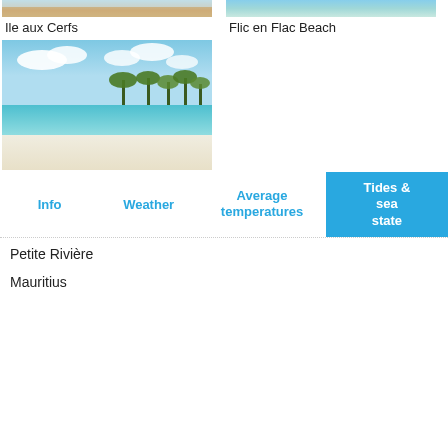[Figure (photo): Aerial/beach photo of Ile aux Cerfs, Mauritius - sandy beach with turquoise water]
Ile aux Cerfs
[Figure (photo): Aerial/beach photo of Flic en Flac Beach, Mauritius - turquoise ocean]
Flic en Flac Beach
[Figure (photo): Beach photo with white sand, palm trees and blue sky - Petite Rivière, Mauritius]
Info
Weather
Average temperatures
Tides & sea state
Petite Rivière
Mauritius